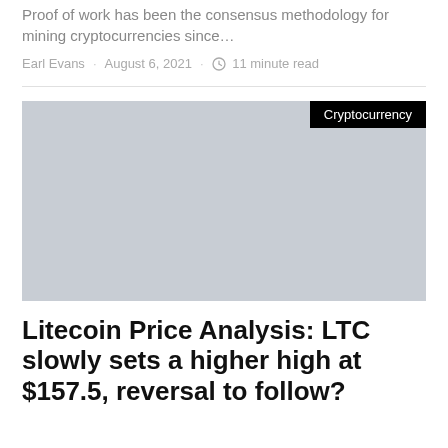Proof of work has been the consensus methodology for mining cryptocurrencies since…
Earl Evans · August 6, 2021 · 11 minute read
[Figure (photo): Gray placeholder image for article thumbnail with Cryptocurrency category badge in top right corner]
Litecoin Price Analysis: LTC slowly sets a higher high at $157.5, reversal to follow?